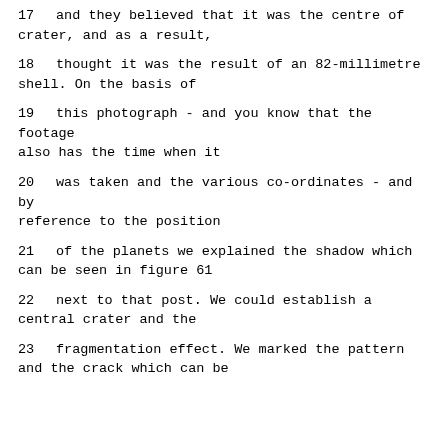17      and they believed that it was the centre of crater, and as a result,
18      thought it was the result of an 82-millimetre shell.  On the basis of
19      this photograph - and you know that the footage also has the time when it
20      was taken and the various co-ordinates - and by reference to the position
21      of the planets we explained the shadow which can be seen in figure 61
22      next to that post.  We could establish a central crater and the
23      fragmentation effect.  We marked the pattern and the crack which can be